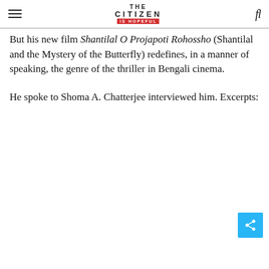THE CITIZEN IS HOPEFUL
But his new film Shantilal O Projapoti Rohossho (Shantilal and the Mystery of the Butterfly) redefines, in a manner of speaking, the genre of the thriller in Bengali cinema.
He spoke to Shoma A. Chatterjee interviewed him. Excerpts: